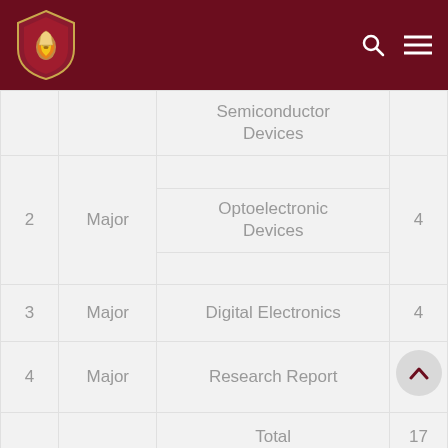University/College navigation header with logo, search, and menu icons
| No. | Type | Subject | Credits |
| --- | --- | --- | --- |
|  |  | Semiconductor Devices |  |
| 2 | Major | Optoelectronic Devices | 4 |
| 3 | Major | Digital Electronics | 4 |
| 4 | Major | Research Report |  |
|  |  | Total | 17 |